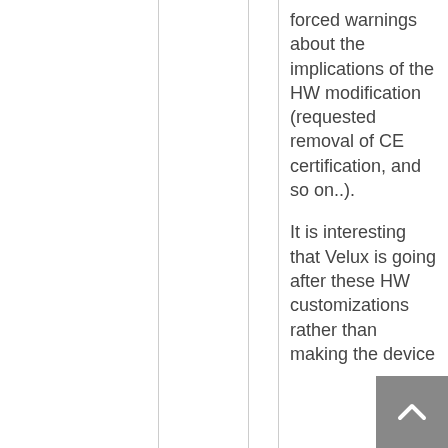forced warnings about the implications of the HW modification (requested removal of CE certification, and so on..).
It is interesting that Velux is going after these HW customizations rather than making the device